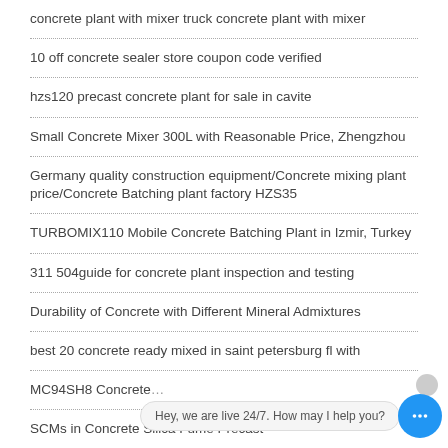concrete plant with mixer truck concrete plant with mixer
10 off concrete sealer store coupon code verified
hzs120 precast concrete plant for sale in cavite
Small Concrete Mixer 300L with Reasonable Price, Zhengzhou
Germany quality construction equipment/Concrete mixing plant price/Concrete Batching plant factory HZS35
TURBOMIX110 Mobile Concrete Batching Plant in Izmir, Turkey
311 504guide for concrete plant inspection and testing
Durability of Concrete with Different Mineral Admixtures
best 20 concrete ready mixed in saint petersburg fl with
MC94SH8 Concrete…
SCMs in Concrete Silica Fume Precast…